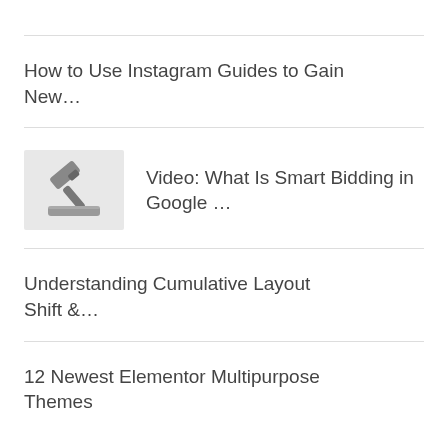How to Use Instagram Guides to Gain New…
Video: What Is Smart Bidding in Google …
Understanding Cumulative Layout Shift &…
12 Newest Elementor Multipurpose Themes